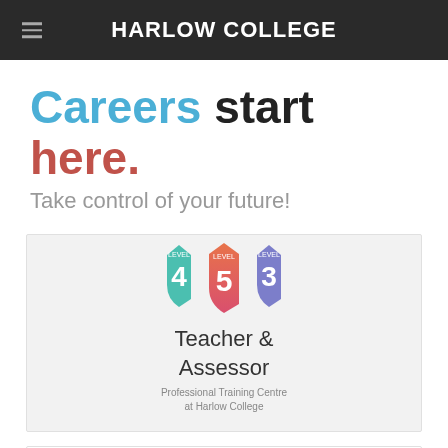HARLOW COLLEGE
Careers start here.
Take control of your future!
[Figure (logo): Shield logo with numbers 4, 5, 3 in teal, orange-red, and blue-purple colors. Text below reads 'Teacher & Assessor' with subtitle 'Professional Training Centre at Harlow College']
About our Teacher Training